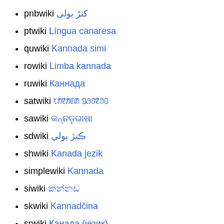pnbwiki کنڑ بولی
ptwiki Língua canaresa
quwiki Kannada simi
rowiki Limba kannada
ruwiki Каннада
satwiki ᱠᱟᱱᱟᱰᱟ ᱯᱷᱚᱱᱚᱛ
sawiki କନ୍ନଡ଼ଭାଷା
sdwiki ڪنڙ ٻولي
shwiki Kanada jezik
simplewiki Kannada
siwiki කන්නඩ
skwiki Kannadčina
srwiki Канада (језик)
svwiki Kannada
swwiki Kikannada
tawiki தமிழ்மொழி